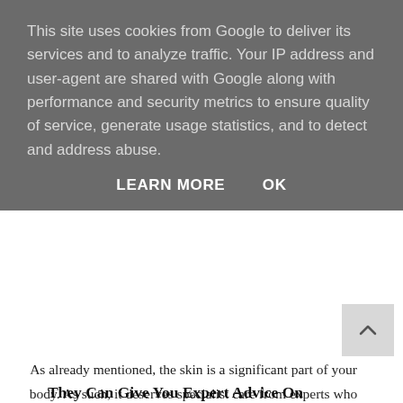This site uses cookies from Google to deliver its services and to analyze traffic. Your IP address and user-agent are shared with Google along with performance and security metrics to ensure quality of service, generate usage statistics, and to detect and address abuse.
LEARN MORE   OK
As already mentioned, the skin is a significant part of your body. As such, it deserves specialist care from experts who understand its complex needs. While general doctors can help with skin issues, they might not have the experience needed to give you the very best advice possible. A dermatologist has experience working with the skin, and can give you support that's dedicated to this vital organ. Your skin's health can also be an indicator of other issues, so you can get the jump on them before they become significant problems.
They Can Give You Expert Advice On